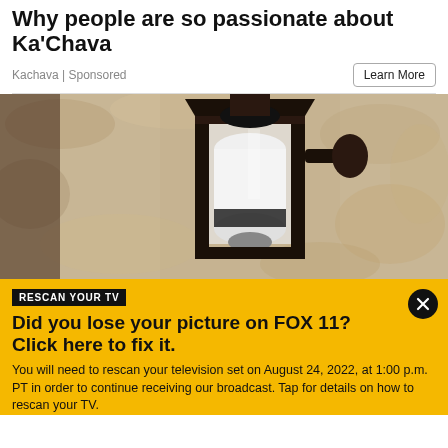Why people are so passionate about Ka'Chava
Kachava | Sponsored
[Figure (photo): Close-up photo of an outdoor wall lantern light fixture with a white security camera bulb installed inside it, mounted on a textured stone wall]
RESCAN YOUR TV
Did you lose your picture on FOX 11? Click here to fix it.
You will need to rescan your television set on August 24, 2022, at 1:00 p.m. PT in order to continue receiving our broadcast. Tap for details on how to rescan your TV.